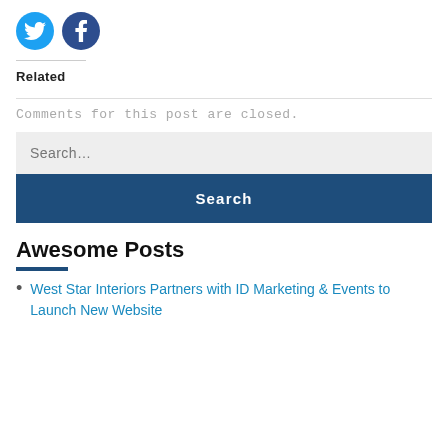[Figure (illustration): Twitter and Facebook social media icon circles (blue bird on cyan, white F on dark blue)]
Related
Comments for this post are closed.
[Figure (other): Search input field with placeholder text 'Search...' and a dark blue Search button below]
Awesome Posts
West Star Interiors Partners with ID Marketing & Events to Launch New Website